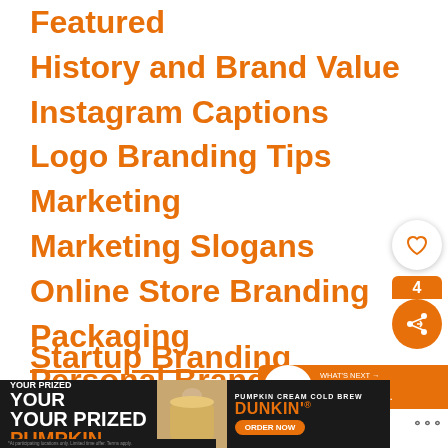Featured
History and Brand Value
Instagram Captions
Logo Branding Tips
Marketing
Marketing Slogans
Online Store Branding
Packaging
Personal Branding
Product Branding
Social Media Branding
Startup Branding
[Figure (infographic): Heart/like button (white circle with heart outline) and share button (orange circle with share icon) with count of 4]
[Figure (infographic): WHAT'S NEXT banner: 23 Tips to Build Travel Brand from...]
[Figure (advertisement): Dunkin' Pumpkin Cream Cold Brew ad: YOUR PRIZED PUMPKIN - ORDER NOW]